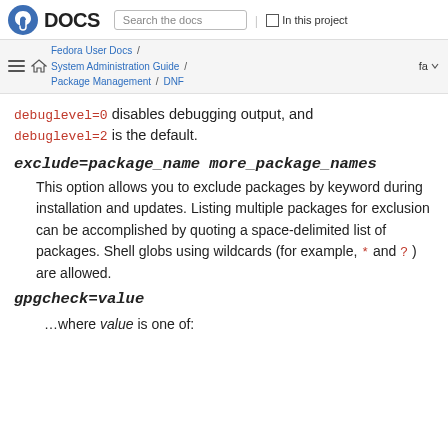Fedora DOCS — Search the docs | In this project
Fedora User Docs / System Administration Guide / Package Management / DNF  fa
debuglevel=0 disables debugging output, and debuglevel=2 is the default.
exclude=package_name more_package_names
This option allows you to exclude packages by keyword during installation and updates. Listing multiple packages for exclusion can be accomplished by quoting a space-delimited list of packages. Shell globs using wildcards (for example, * and ? ) are allowed.
gpgcheck=value
…where value is one of: